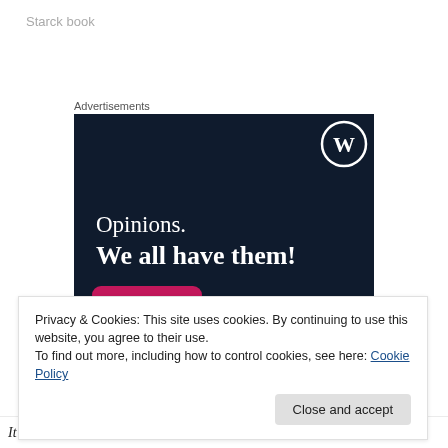Starck book
Advertisements
[Figure (screenshot): WordPress advertisement banner with dark navy background, WordPress logo in top right, text 'Opinions. We all have them!' in white serif font, a pink button at bottom left, and a grey circle at bottom right.]
Privacy & Cookies: This site uses cookies. By continuing to use this website, you agree to their use.
To find out more, including how to control cookies, see here: Cookie Policy
Close and accept
It didn't have much value – life and death altogether.